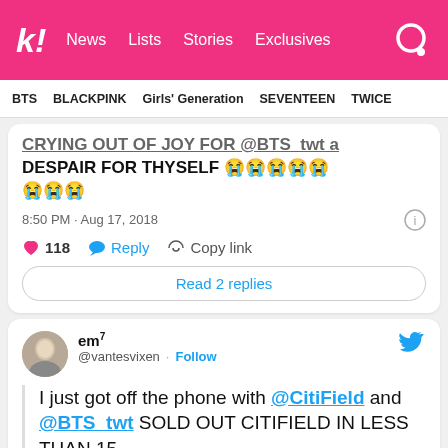k! News  Lists  Stories  Exclusives
BTS  BLACKPINK  Girls' Generation  SEVENTEEN  TWICE
CRYING OUT OF JOY FOR @BTS_twt a DESPAIR FOR THYSELF 😭😭😭😭😭😭😭😭  8:50 PM · Aug 17, 2018  118  Reply  Copy link  Read 2 replies
em7 @vantesvixen · Follow  I just got off the phone with @CitiField and @BTS_twt SOLD OUT CITIFIELD IN LESS THAN 15-